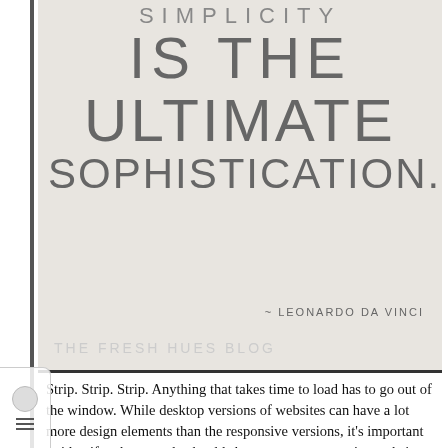[Figure (illustration): Decorative typographic quote image on light beige/grey background. Large thin-font text reads 'IS THE ULTIMATE SOPHISTICATION.' with attribution '~ LEONARDO DA VINCI' and watermark 'THE FRESH HUES BLOG' at bottom left.]
Strip. Strip. Strip. Anything that takes time to load has to go out of the window. While desktop versions of websites can have a lot more design elements than the responsive versions, it's important to identify what exactly should show up on a responsive website. Responsive design